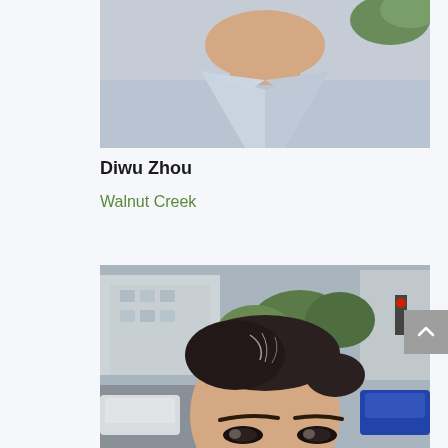[Figure (photo): Portrait photo of a man in a light blue collared shirt, from shoulders up, cropped at top of head. Outdoor background with greenery visible.]
Diwu Zhou
Walnut Creek
[Figure (photo): Portrait photo of a woman with dark hair pulled back, photographed outdoors on an urban street with buildings, traffic light, and trees visible in the background.]